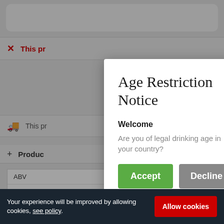This pr... (error/restriction notice - background)
This pr... (delivery info - background)
Produc... (product details - background)
|  |  |
| --- | --- |
| ABV | 12.0% |
| Bottle Siz... | 75cl |
| Brand | Bollinger |
| Origin | France |
Age Restriction Notice
Welcome
Are you of legal drinking age in your country?
Accept
Decline
Your experience will be improved by allowing cookies, see policy.
Allow cookies